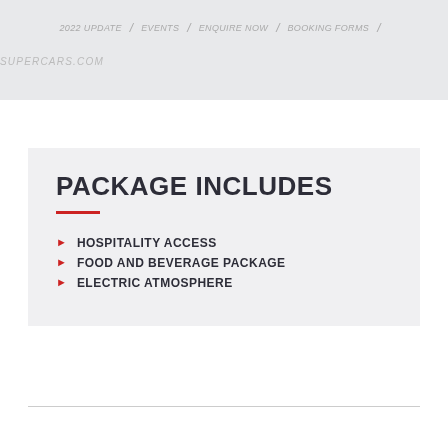2022 UPDATE | EVENTS | ENQUIRE NOW | BOOKING FORMS | SUPERCARS.COM
PACKAGE INCLUDES
HOSPITALITY ACCESS
FOOD AND BEVERAGE PACKAGE
ELECTRIC ATMOSPHERE